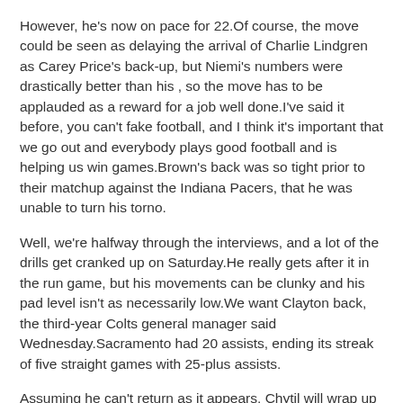However, he's now on pace for 22.Of course, the move could be seen as delaying the arrival of Charlie Lindgren as Carey Price's back-up, but Niemi's numbers were drastically better than his , so the move has to be applauded as a reward for a job well done.I've said it before, you can't fake football, and I think it's important that we go out and everybody plays good football and is helping us win games.Brown's back was so tight prior to their matchup against the Indiana Pacers, that he was unable to turn his torno.
Well, we're halfway through the interviews, and a lot of the drills get cranked up on Saturday.He really gets after it in the run game, but his movements can be clunky and his pad level isn't as necessarily low.We want Clayton back, the third-year Colts general manager said Wednesday.Sacramento had 20 assists, ending its streak of five straight games with 25-plus assists.
Assuming he can't return as it appears, Chytil will wrap up his first full Manny Machado Youth Jersey campaign with the Rangers having amassed 23 points — 11 goals